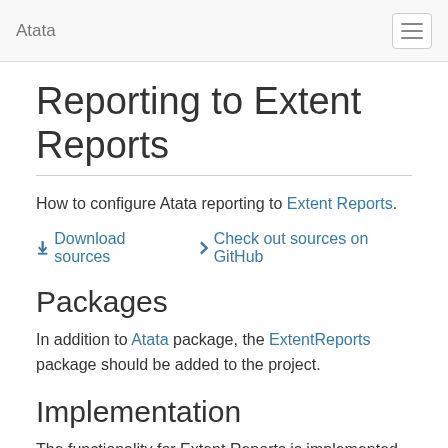Atata
Reporting to Extent Reports
How to configure Atata reporting to Extent Reports.
↓ Download sources  ❯ Check out sources on GitHub
Packages
In addition to Atata package, the ExtentReports package should be added to the project.
Implementation
The functionality for Extent Reports is implemented in 3 class files: